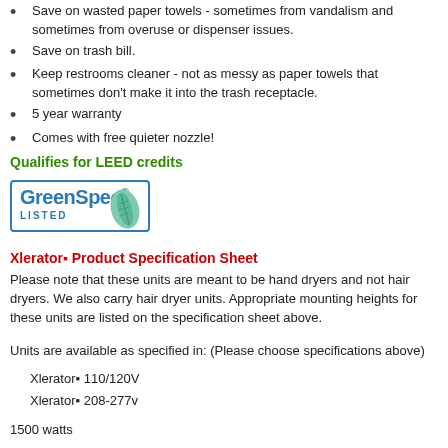Save on wasted paper towels - sometimes from vandalism and sometimes from overuse or dispenser issues.
Save on trash bill.
Keep restrooms cleaner - not as messy as paper towels that sometimes don't make it into the trash receptacle.
5 year warranty
Comes with free quieter nozzle!
Qualifies for LEED credits
[Figure (logo): GreenSpec Listed logo with blue border and leaf graphic]
Xlerator◆ Product Specification Sheet
Please note that these units are meant to be hand dryers and not hair dryers. We also carry hair dryer units. Appropriate mounting heights for these units are listed on the specification sheet above.
Units are available as specified in: (Please choose specifications above)
Xlerator◆ 110/120V
Xlerator◆ 208-277v
1500 watts